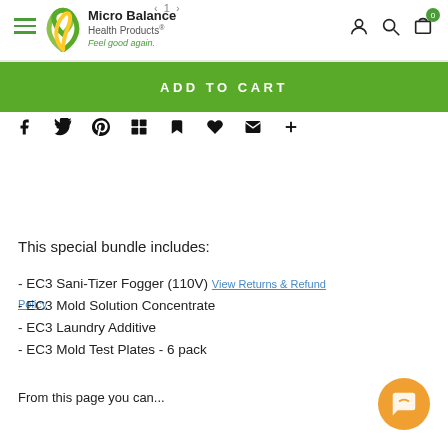Micro Balance Health Products® — Feel good again
ADD TO CART
[Figure (screenshot): Social sharing icons row: Facebook, Twitter, Pinterest, Grid/Houzz, Bookmark, Heart/Like, Email, Plus]
This special bundle includes:
- EC3 Sani-Tizer Fogger (110V) View Returns & Refund Policy
- EC3 Mold Solution Concentrate
- EC3 Laundry Additive
- EC3 Mold Test Plates - 6 pack
From this page you can...